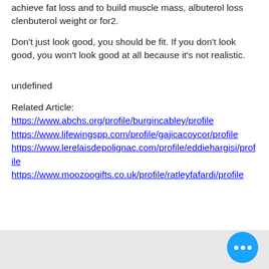achieve fat loss and to build muscle mass, albuterol loss clenbuterol weight or for2.
Don't just look good, you should be fit. If you don't look good, you won't look good at all because it's not realistic.
undefined
Related Article:
https://www.abchs.org/profile/burgincabley/profile
https://www.lifewingspp.com/profile/gajicacoycor/profile
https://www.lerelaisdepolignac.com/profile/eddiehargisi/profile
https://www.moozoogifts.co.uk/profile/ratleyfafardi/profile